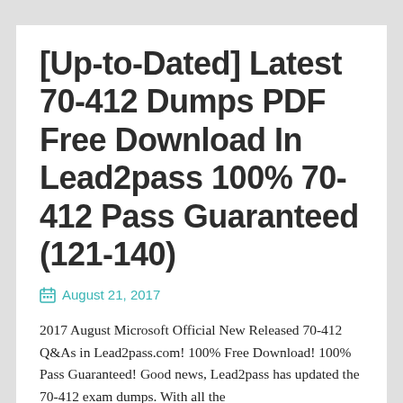[Up-to-Dated] Latest 70-412 Dumps PDF Free Download In Lead2pass 100% 70-412 Pass Guaranteed (121-140)
August 21, 2017
2017 August Microsoft Official New Released 70-412 Q&As in Lead2pass.com! 100% Free Download! 100% Pass Guaranteed! Good news, Lead2pass has updated the 70-412 exam dumps. With all the